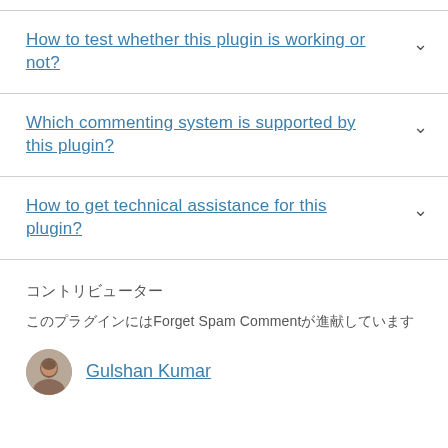How to test whether this plugin is working or not?
Which commenting system is supported by this plugin?
How to get technical assistance for this plugin?
コントリビューター
このプラグインにはForget Spam Commentが貢献しています
Gulshan Kumar